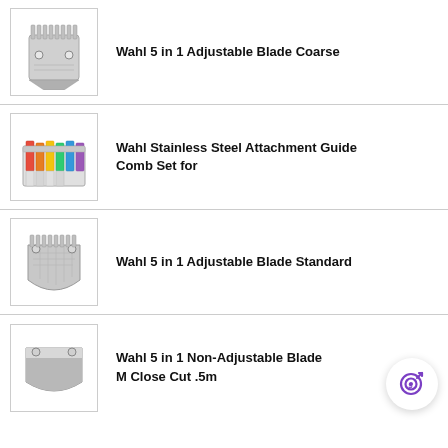[Figure (photo): Wahl 5 in 1 Adjustable Blade Coarse product image]
Wahl 5 in 1 Adjustable Blade Coarse
[Figure (photo): Wahl Stainless Steel Attachment Guide Comb Set product image]
Wahl Stainless Steel Attachment Guide Comb Set for
[Figure (photo): Wahl 5 in 1 Adjustable Blade Standard product image]
Wahl 5 in 1 Adjustable Blade Standard
[Figure (photo): Wahl 5 in 1 Non-Adjustable Blade product image]
Wahl 5 in 1 Non-Adjustable Blade M Close Cut .5m